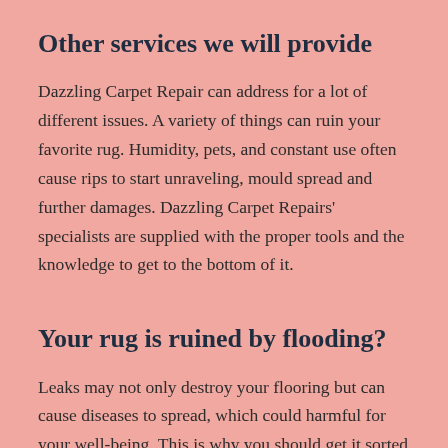Other services we will provide
Dazzling Carpet Repair can address for a lot of different issues. A variety of things can ruin your favorite rug. Humidity, pets, and constant use often cause rips to start unraveling, mould spread and further damages. Dazzling Carpet Repairs' specialists are supplied with the proper tools and the knowledge to get to the bottom of it.
Your rug is ruined by flooding?
Leaks may not only destroy your flooring but can cause diseases to spread, which could harmful for your well-being. This is why you should get it sorted as soon as possible. You